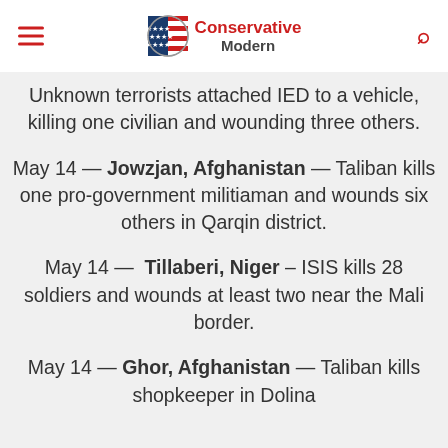Conservative Modern
Unknown terrorists attached IED to a vehicle, killing one civilian and wounding three others.
May 14 — Jowzjan, Afghanistan — Taliban kills one pro-government militiaman and wounds six others in Qarqin district.
May 14 — Tillaberi, Niger – ISIS kills 28 soldiers and wounds at least two near the Mali border.
May 14 — Ghor, Afghanistan — Taliban kills shopkeeper in Dolina